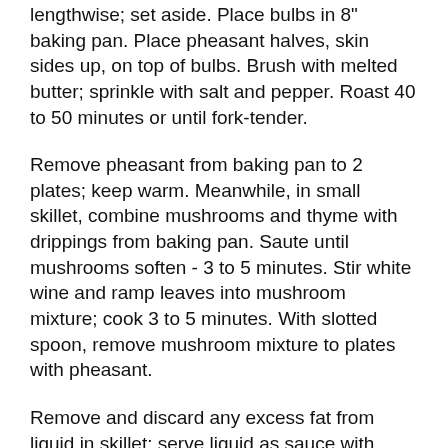lengthwise; set aside. Place bulbs in 8" baking pan. Place pheasant halves, skin sides up, on top of bulbs. Brush with melted butter; sprinkle with salt and pepper. Roast 40 to 50 minutes or until fork-tender.
Remove pheasant from baking pan to 2 plates; keep warm. Meanwhile, in small skillet, combine mushrooms and thyme with drippings from baking pan. Saute until mushrooms soften - 3 to 5 minutes. Stir white wine and ramp leaves into mushroom mixture; cook 3 to 5 minutes. With slotted spoon, remove mushroom mixture to plates with pheasant.
Remove and discard any excess fat from liquid in skillet; serve liquid as sauce with pheasant. Garnish pheasant with thyme sprigs,if desired.
Nutritional information per serving: 67 g protein; 33 g fat; 18 g carbohydrate; 3 g fiber; 721 mg sodium; 228 mg